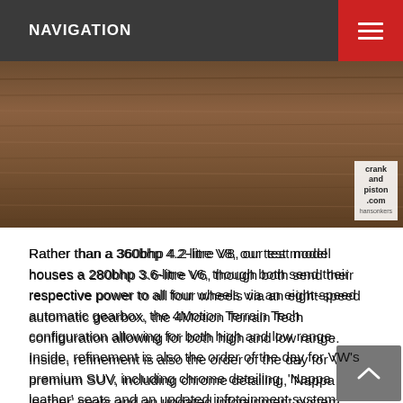NAVIGATION
[Figure (photo): Wood-grain textured surface image with crankandpiston.com watermark in lower right corner]
Rather than a 360bhp 4.2-litre V8, our test model houses a 280bhp 3.6-litre V6, though both send their respective power to all four wheels via an eight-speed automatic gearbox, the 4Motion Terrain Tech configuration allowing for both high and low range. Inside, refinement is also the order of the day for VW's premium SUV, including chrome detailing, 'Nappa leather' seats and an updated infotainment system.
Outside the Touareg is much as it's always been, save some blink-and-you'll-miss-them revisions on the front and rear bumpers, larger headlights, and…actually, that's about it. Reef Blue paint and 20in 'Masafi' alloys look pretty sharp though, don't they?